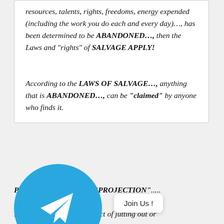resources, talents, rights, freedoms, energy expended (including the work you do each and every day)…, has been determined to be ABANDONED…, then the Laws and "rights" of SALVAGE APPLY!
According to the LAWS OF SALVAGE…, anything that is ABANDONED…, can be "claimed" by anyone who finds it.
[Figure (logo): Telegram messenger logo — blue circle with white paper plane arrow]
P_____ " is ~ "PROJECTION"..... Projection – the state, or fact of jutting out or protruding.